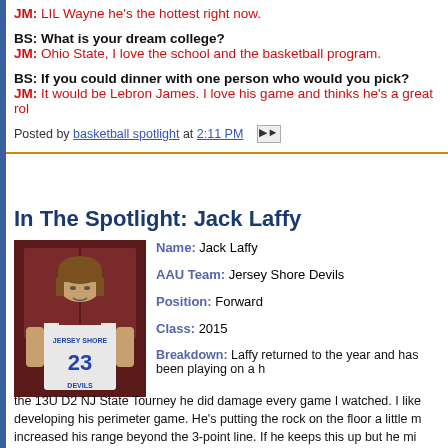JM: LIL Wayne he's the hottest right now.
BS: What is your dream college?
JM: Ohio State, I love the school and the basketball program.
BS: If you could dinner with one person who would you pick?
JM: It would be Lebron James. I love his game and thinks he's a great rol
Posted by basketball spotlight at 2:11 PM
In The Spotlight: Jack Laffy
[Figure (photo): Young basketball player wearing Jersey Shore Devils #23 white jersey, standing in front of a dark red/brown background.]
Name: Jack Laffy
AAU Team: Jersey Shore Devils
Position: Forward
Class: 2015
Breakdown: Laffy returned to the year and has been playing on a h the 13U D2 NJ State Tourney he did damage every game I watched. I like developing his perimeter game. He's putting the rock on the floor a little m increased his range beyond the 3-point line. If he keeps this up but he mi